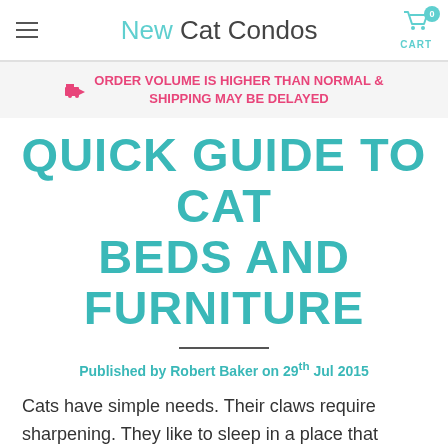New Cat Condos | CART 0
ORDER VOLUME IS HIGHER THAN NORMAL & SHIPPING MAY BE DELAYED
QUICK GUIDE TO CAT BEDS AND FURNITURE
Published by Robert Baker on 29th Jul 2015
Cats have simple needs. Their claws require sharpening. They like to sleep in a place that seems safe and is soft and warm. They like to keep watch over their environment. Human furniture can be